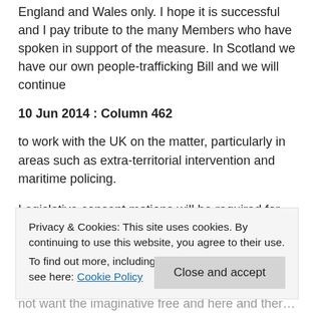England and Wales only. I hope it is successful and I pay tribute to the many Members who have spoken in support of the measure. In Scotland we have our own people-trafficking Bill and we will continue
10 Jun 2014 : Column 462
to work with the UK on the matter, particularly in areas such as extra-territorial intervention and maritime policing.
Legislative consent motions will be required for some of the measures in the serious crime Bill, and I know that again, my colleagues in the Scottish Government will work closely with
Privacy & Cookies: This site uses cookies. By continuing to use this website, you agree to their use. To find out more, including how to control cookies, see here: Cookie Policy
not want the imaginative free and here and there, the life of